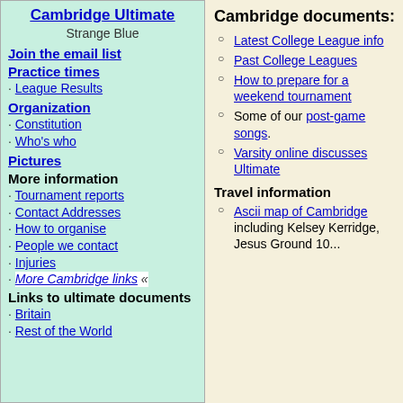Cambridge Ultimate
Strange Blue
Join the email list
Practice times
· League Results
Organization
· Constitution
· Who's who
Pictures
More information
· Tournament reports
· Contact Addresses
· How to organise
· People we contact
· Injuries
· More Cambridge links «
Links to ultimate documents
· Britain
· Rest of the World
Cambridge documents:
Latest College League info
Past College Leagues
How to prepare for a weekend tournament
Some of our post-game songs.
Varsity online discusses Ultimate
Travel information
Ascii map of Cambridge including Kelsey Kerridge, Jesus Ground 10...